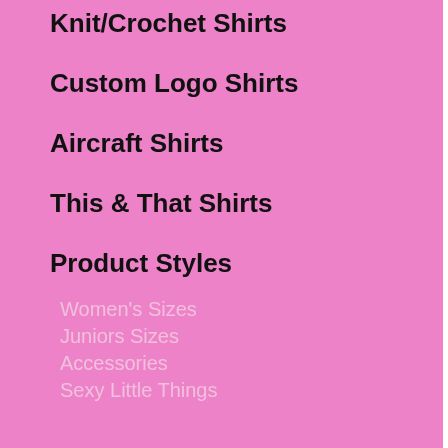Knit/Crochet Shirts
Custom Logo Shirts
Aircraft Shirts
This & That Shirts
Product Styles
Women's Sizes
Juniors Sizes
Accessories
Sexy Little Things
Subscribe to our Newsletter
[Figure (illustration): Pink and white vertical stripes pattern at the bottom of the left panel]